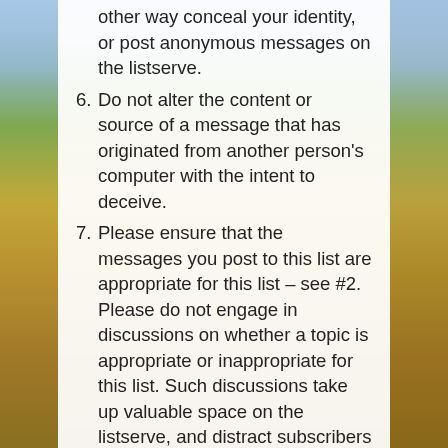(continuation) other way conceal your identity, or post anonymous messages on the listserve.
6. Do not alter the content or source of a message that has originated from another person's computer with the intent to deceive.
7. Please ensure that the messages you post to this list are appropriate for this list – see #2. Please do not engage in discussions on whether a topic is appropriate or inappropriate for this list. Such discussions take up valuable space on the listserve, and distract subscribers away from more meaningful discussions.
8. Please use descriptive headings in the subject line for all messages that you post to the listserve. At the end of your messages, attach a standard identifier with your name, affiliation, and appropriate contact numbers (phone, e-mail addresses). Do not include drawings,